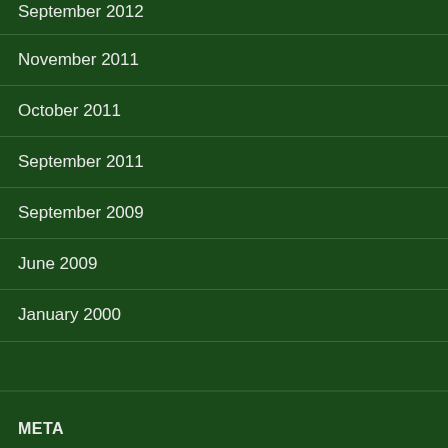September 2012
November 2011
October 2011
September 2011
September 2009
June 2009
January 2000
META
Log in
Entries feed